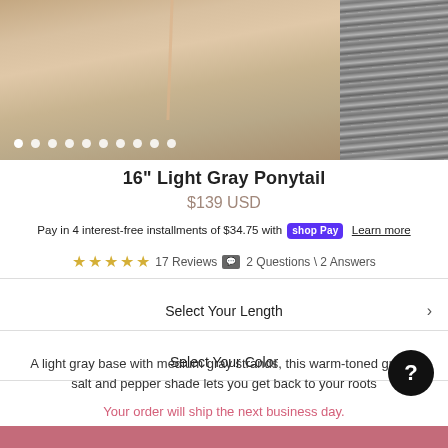[Figure (photo): Product photo of light gray ponytail hairpiece on a model, with a side image of gray hair texture]
16" Light Gray Ponytail
$139 USD
Pay in 4 interest-free installments of $34.75 with Shop Pay Learn more
★★★★★ 17 Reviews 💬2 Questions \ 2 Answers
Select Your Length
Select Your Color
A light gray base with medium gray strands, this warm-toned greige salt and pepper shade lets you get back to your roots
Your order will ship the next business day.